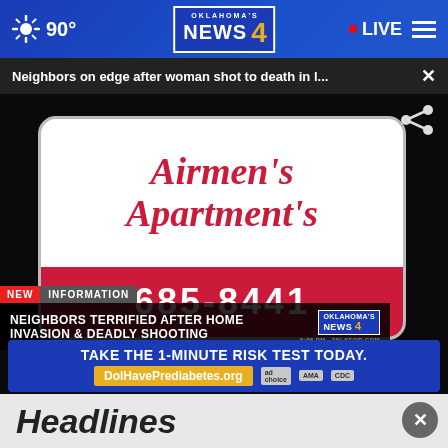90° | Oklahoma's News 4 | LIVE
Neighbors on edge after woman shot to death in l...
[Figure (screenshot): News video screenshot showing Airmen's Apartment's sign with phone number 685-8441 and lower-third chyron reading 'NEIGHBORS TERRIFIED AFTER HOME INVASION & DEADLY SHOOTING' on Oklahoma's News 4]
Headlines
TAKE THE 1-MINUTE RISK TEST TODAY. DolHavePrediabetes.org